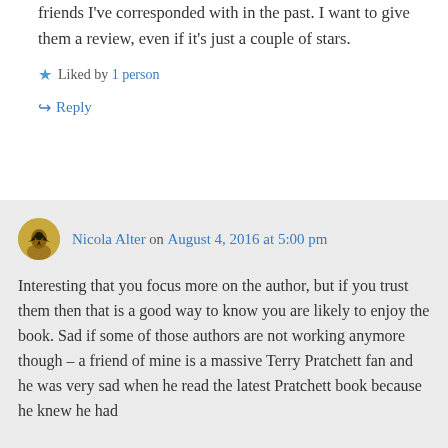friends I've corresponded with in the past. I want to give them a review, even if it's just a couple of stars.
Liked by 1 person
Reply
Nicola Alter on August 4, 2016 at 5:00 pm
Interesting that you focus more on the author, but if you trust them then that is a good way to know you are likely to enjoy the book. Sad if some of those authors are not working anymore though – a friend of mine is a massive Terry Pratchett fan and he was very sad when he read the latest Pratchett book because he knew he had